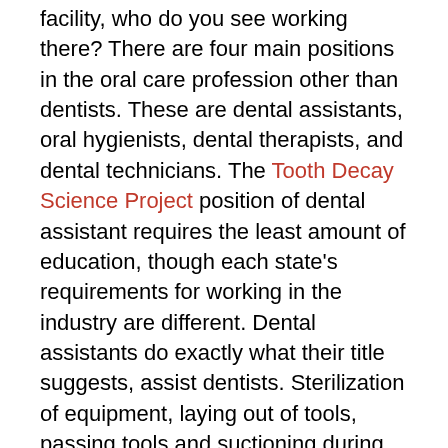facility, who do you see working there? There are four main positions in the oral care profession other than dentists. These are dental assistants, oral hygienists, dental therapists, and dental technicians. The Tooth Decay Science Project position of dental assistant requires the least amount of education, though each state's requirements for working in the industry are different. Dental assistants do exactly what their title suggests, assist dentists. Sterilization of equipment, laying out of tools, passing tools and suctioning during procedures, and taking x-rays are all part of the duties of dental assistants. Licensing is required to be a dental hygienist. Licensed dental hygienists are also called oral hygienists. Dental hygienists are specialists in preventative oral care. They clean teeth and gums, taking x-rays, scaling and root planning necessary for periodontal disease patients, giving the patient fluoride, applying dental sealants, and educating patients in home care Aspen Dental Prices for the teeth and gums. Patients will typically spend the most time in the dental office with the oral hygienist. Oral hygienists follow a five-step process of care, including assessment, diagnosis, planning, implementation, and evaluation. The scope of what an oral hygienist is allowed